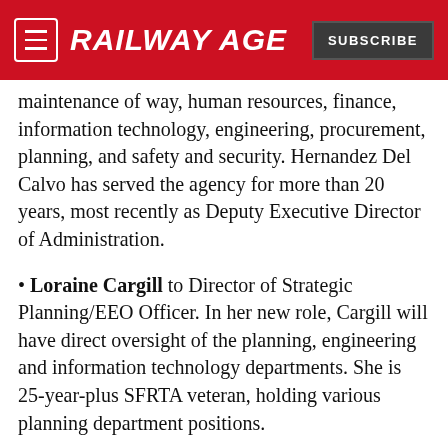RAILWAY AGE | SUBSCRIBE
maintenance of way, human resources, finance, information technology, engineering, procurement, planning, and safety and security. Hernandez Del Calvo has served the agency for more than 20 years, most recently as Deputy Executive Director of Administration.
Loraine Cargill to Director of Strategic Planning/EEO Officer. In her new role, Cargill will have direct oversight of the planning, engineering and information technology departments. She is 25-year-plus SFRTA veteran, holding various planning department positions.
Victor O. Garcia to Director of Public Affairs. He has served SFRTA for more than 19 years in the